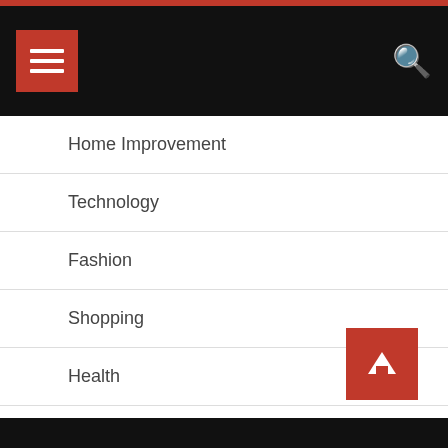Navigation menu with hamburger button and search icon
Home Improvement
Technology
Fashion
Shopping
Health
Business